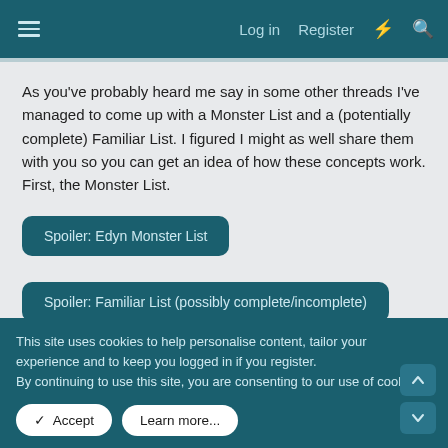Log in  Register
As you've probably heard me say in some other threads I've managed to come up with a Monster List and a (potentially complete) Familiar List. I figured I might as well share them with you so you can get an idea of how these concepts work. First, the Monster List.
Spoiler: Edyn Monster List
Spoiler: Familiar List (possibly complete/incomplete)
This is what I've gotten so far. I want to keep the Monster List at
This site uses cookies to help personalise content, tailor your experience and to keep you logged in if you register.
By continuing to use this site, you are consenting to our use of cookies.
Accept   Learn more...